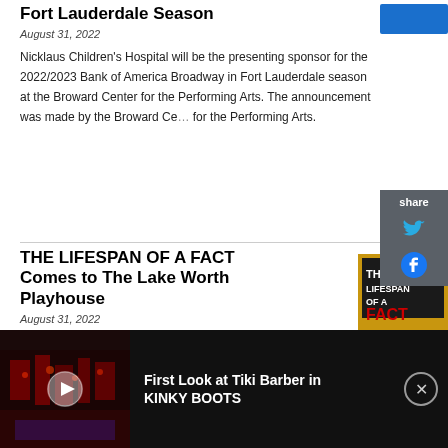Fort Lauderdale Season
August 31, 2022
Nicklaus Children's Hospital will be the presenting sponsor for the 2022/2023 Bank of America Broadway in Fort Lauderdale season at the Broward Center for the Performing Arts. The announcement was made by the Broward Ce... for the Performing Arts.
THE LIFESPAN OF A FACT Comes to The Lake Worth Playhouse
August 31, 2022
[Figure (photo): Poster for The Lifespan of a Fact - A New Play, with bold text on yellow and black background]
LAKE WORTH PLAYHOUSE has announced the opening of The Lifespan of a Fact as part of the theatre's Black Box Series.
[Figure (screenshot): Ad banner: First Look at Tiki Barber in KINKY BOOTS with video thumbnail showing stage with red lighting]